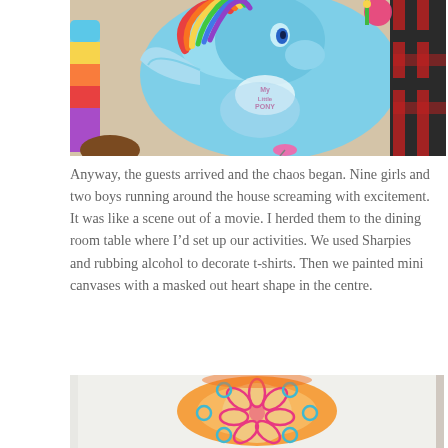[Figure (photo): A large blue My Little Pony balloon (Rainbow Dash character) being held up, with rainbow-colored elements and party decorations visible in the background. A person in a checkered shirt is partially visible on the right.]
Anyway, the guests arrived and the chaos began. Nine girls and two boys running around the house screaming with excitement. It was like a scene out of a movie. I herded them to the dining room table where I'd set up our activities. We used Sharpies and rubbing alcohol to decorate t-shirts. Then we painted mini canvases with a masked out heart shape in the centre.
[Figure (photo): A mini canvas painted with a flower/daisy design in pink on an orange background, with teal/blue circular dots around it, showing a heart-shaped masked art project.]